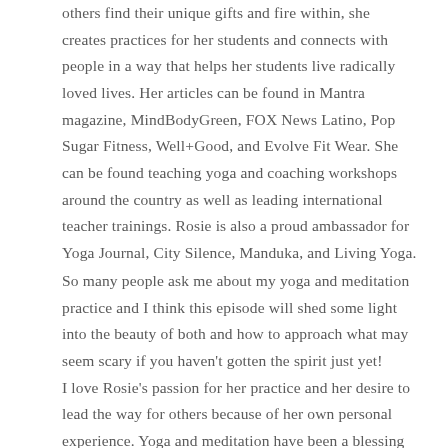others find their unique gifts and fire within, she creates practices for her students and connects with people in a way that helps her students live radically loved lives. Her articles can be found in Mantra magazine, MindBodyGreen, FOX News Latino, Pop Sugar Fitness, Well+Good, and Evolve Fit Wear. She can be found teaching yoga and coaching workshops around the country as well as leading international teacher trainings. Rosie is also a proud ambassador for Yoga Journal, City Silence, Manduka, and Living Yoga.
So many people ask me about my yoga and meditation practice and I think this episode will shed some light into the beauty of both and how to approach what may seem scary if you haven't gotten the spirit just yet! I love Rosie's passion for her practice and her desire to lead the way for others because of her own personal experience. Yoga and meditation have been a blessing and I hope you can have some too.